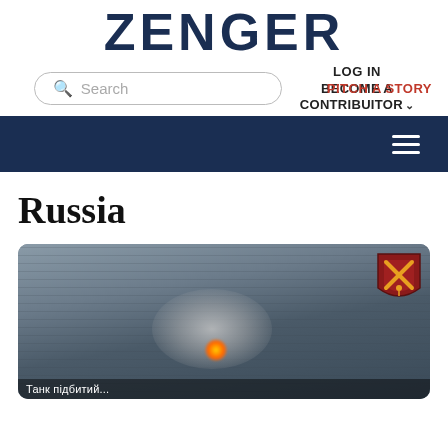ZENGER
LOG IN
Search
BECOME A CONTRIBUITOR
PITCH A STORY
Russia
[Figure (photo): Aerial or drone footage showing a burning explosion with smoke rising from a field, with a red and gold shield/crest badge visible in the top-right corner of the image.]